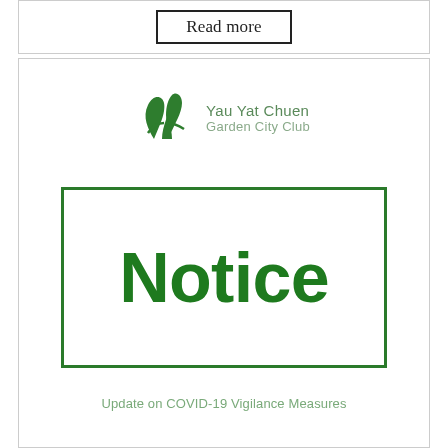Read more
[Figure (logo): Yau Yat Chuen Garden City Club logo with green leaf emblem and text]
Notice
Update on COVID-19 Vigilance Measures